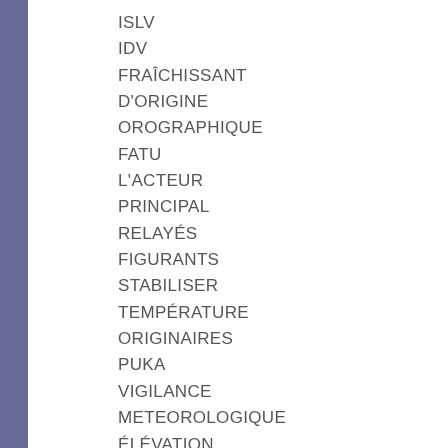ISLV
IDV
FRAÎCHISSANT
D'ORIGINE
OROGRAPHIQUE
FATU
L'ACTEUR
PRINCIPAL
RELAYÉS
FIGURANTS
STABILISER
TEMPÉRATURE
ORIGINAIRES
PUKA
VIGILANCE
METEOROLOGIQUE
ÉLÉVATION
LAGONS